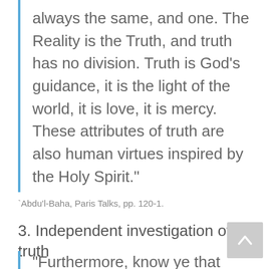always the same, and one. The Reality is the Truth, and truth has no division. Truth is God's guidance, it is the light of the world, it is love, it is mercy. These attributes of truth are also human virtues inspired by the Holy Spirit."
`Abdu'l-Baha, Paris Talks, pp. 120-1.
3. Independent investigation of truth
"Furthermore, know ye that